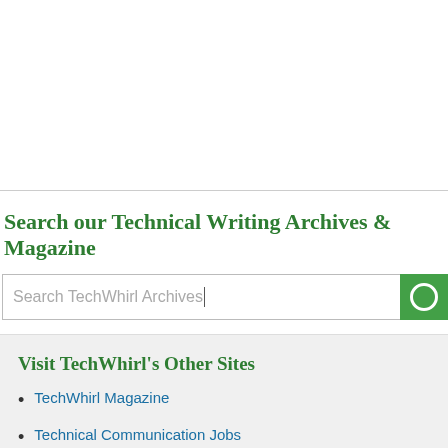Search our Technical Writing Archives & Magazine
Search TechWhirl Archives
Visit TechWhirl's Other Sites
TechWhirl Magazine
Technical Communication Jobs